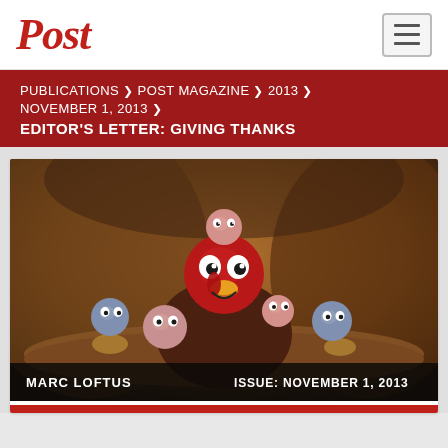Post
PUBLICATIONS > POST MAGAZINE > 2013 > NOVEMBER 1, 2013 > EDITOR'S LETTER: GIVING THANKS
[Figure (illustration): Animated 3D cartoon turkey characters — a large red bird in the center surrounded by smaller pink, blue and brown baby turkeys in a cave-like setting. Caption bars read 'MARC LOFTUS' and 'ISSUE: NOVEMBER 1, 2013'.]